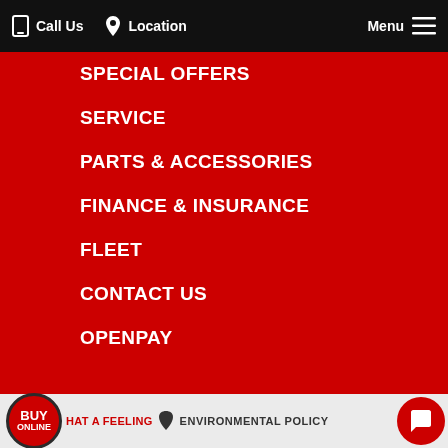Call Us   Location   Menu
SPECIAL OFFERS
SERVICE
PARTS & ACCESSORIES
FINANCE & INSURANCE
FLEET
CONTACT US
OPENPAY
© 2020 CRANBOURNE TOYOTA |
LMCT 537 | PRIVACY POLICY | CAREERS
SITE DESIGNED BY ADTORQUE EDGE
BUY ONLINE   WHAT A FEELING   ENVIRONMENTAL POLICY